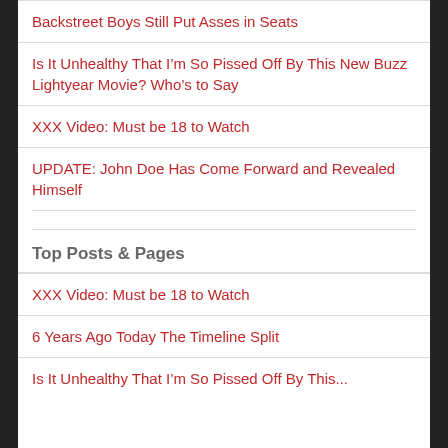Backstreet Boys Still Put Asses in Seats
Is It Unhealthy That I’m So Pissed Off By This New Buzz Lightyear Movie? Who’s to Say
XXX Video: Must be 18 to Watch
UPDATE: John Doe Has Come Forward and Revealed Himself
Top Posts & Pages
XXX Video: Must be 18 to Watch
6 Years Ago Today The Timeline Split
Is It Unhealthy That I’m So Pissed Off By This...